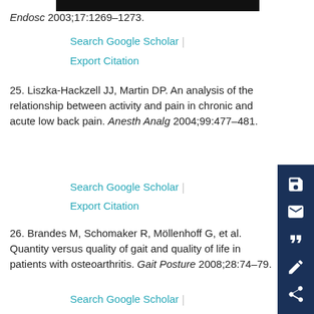Endosc 2003;17:1269–1273.
Search Google Scholar
Export Citation
25. Liszka-Hackzell JJ, Martin DP. An analysis of the relationship between activity and pain in chronic and acute low back pain. Anesth Analg 2004;99:477–481.
Search Google Scholar
Export Citation
26. Brandes M, Schomaker R, Möllenhoff G, et al. Quantity versus quality of gait and quality of life in patients with osteoarthritis. Gait Posture 2008;28:74–79.
Search Google Scholar